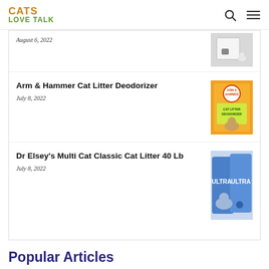CATS LOVE TALK
Arm & Hammer Cat Litter Deodorizer
July 8, 2022
[Figure (photo): Arm & Hammer Cat Litter Deodorizer product image]
Dr Elsey's Multi Cat Classic Cat Litter 40 Lb
July 8, 2022
[Figure (photo): Dr Elsey's Multi Cat Classic Cat Litter product image]
Popular Articles